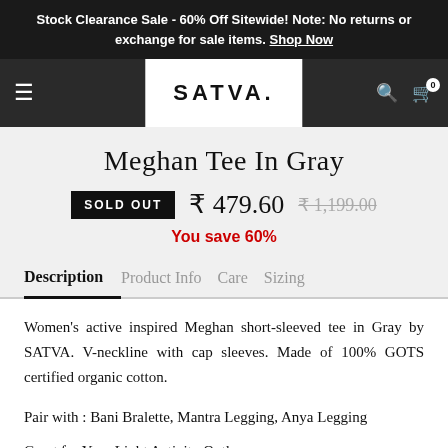Stock Clearance Sale - 60% Off Sitewide! Note: No returns or exchange for sale items. Shop Now
[Figure (logo): SATVA brand logo in navigation bar with hamburger menu icon, search icon, and cart icon]
Meghan Tee In Gray
SOLD OUT  ₹ 479.60  ₹ 1,199.00
You save 60%
Description  Product Info  Care  Sizing
Women's active inspired Meghan short-sleeved tee in Gray by SATVA. V-neckline with cap sleeves. Made of 100% GOTS certified organic cotton.
Pair with : Bani Bralette, Mantra Legging, Anya Legging
Great for Your Light Activity Outle...